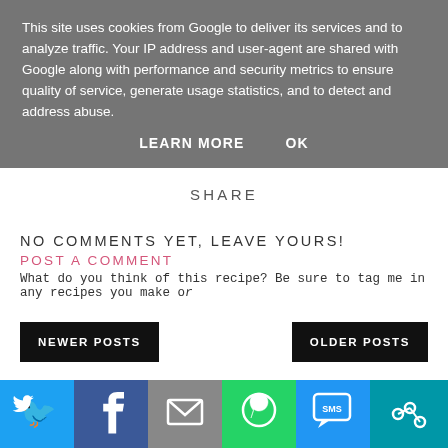This site uses cookies from Google to deliver its services and to analyze traffic. Your IP address and user-agent are shared with Google along with performance and security metrics to ensure quality of service, generate usage statistics, and to detect and address abuse.
LEARN MORE   OK
SHARE
NO COMMENTS YET, LEAVE YOURS!
POST A COMMENT
What do you think of this recipe? Be sure to tag me in any recipes you make or
NEWER POSTS
OLDER POSTS
[Figure (infographic): Social share bar with Twitter, Facebook, Email, WhatsApp, SMS, and More icons]